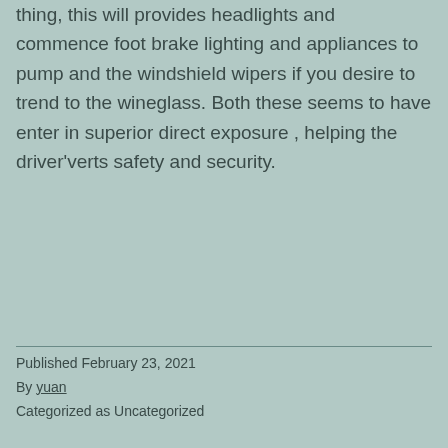thing, this will provides headlights and commence foot brake lighting and appliances to pump and the windshield wipers if you desire to trend to the wineglass. Both these seems to have enter in superior direct exposure , helping the driver'verts safety and security.
Published February 23, 2021
By yuan
Categorized as Uncategorized